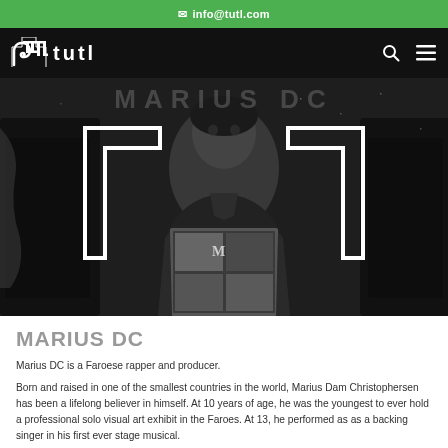✉ info@tutl.com
[Figure (screenshot): TUTL music label website screenshot showing navigation bar with TUTL logo (white spiral and text) on black background, with search and menu icons on the right. Below is a large black-and-white hero photo of Marius DC holding a photo album/magazine. Faint 'MARIUS DC' watermark text appears at the top of the image.]
MARIUS DC
Marius DC is a Faroese rapper and producer.
Born and raised in one of the smallest countries in the world, Marius Dam Christophersen has been a lifelong believer in himself. At 10 years of age, he was the youngest to ever hold a professional solo visual art exhibit in the Faroes. At 13, he performed as as a backing singer in his first ever stage musical.